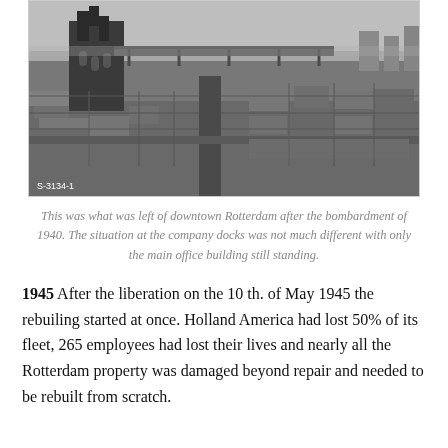[Figure (photo): Aerial black-and-white photograph of the bombed-out downtown Rotterdam after the 1940 bombardment. A damaged cathedral is visible on the upper left. The city blocks are largely flattened with only foundations and rubble visible. A waterway runs through the center. Label 'S-3134-1' appears at the bottom left.]
This was what was left of downtown Rotterdam after the bombardment of 1940. The situation at the company docks was not much different with only the main office building still standing.
1945 After the liberation on the 10 th. of May 1945 the rebuiling started at once. Holland America had lost 50% of its fleet, 265 employees had lost their lives and nearly all the Rotterdam property was damaged beyond repair and needed to be rebuilt from scratch.